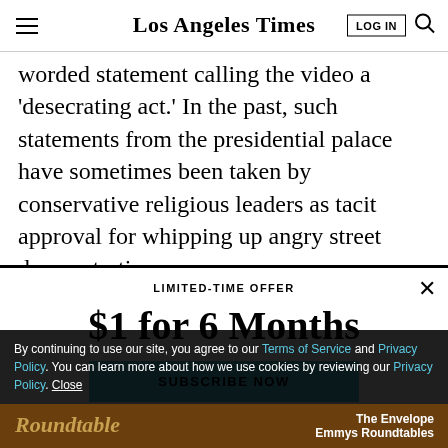Los Angeles Times
worded statement calling the video a ‘desecrating act.’ In the past, such statements from the presidential palace have sometimes been taken by conservative religious leaders as tacit approval for whipping up angry street demonstrations
LIMITED-TIME OFFER
$1 for 6 Months
SUBSCRIBE NOW
By continuing to use our site, you agree to our Terms of Service and Privacy Policy. You can learn more about how we use cookies by reviewing our Privacy Policy. Close